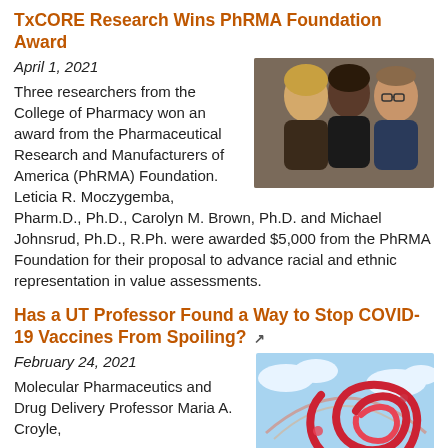TxCORE Research Wins PhRMA Foundation Award
April 1, 2021
[Figure (photo): Group photo of three researchers from the College of Pharmacy: two women and one man posing together.]
Three researchers from the College of Pharmacy won an award from the Pharmaceutical Research and Manufacturers of America (PhRMA) Foundation. Leticia R. Moczygemba, Pharm.D., Ph.D., Carolyn M. Brown, Ph.D. and Michael Johnsrud, Ph.D., R.Ph. were awarded $5,000 from the PhRMA Foundation for their proposal to advance racial and ethnic representation in value assessments.
Has a UT Professor Found a Way to Stop COVID-19 Vaccines From Spoiling?
February 24, 2021
[Figure (photo): Colorful artistic illustration of a swirling red and pink spiral shape against a sky background with clouds.]
Molecular Pharmaceutics and Drug Delivery Professor Maria A. Croyle,